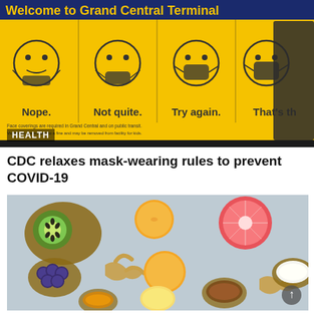[Figure (photo): Yellow COVID-19 mask-wearing instructions sign at Grand Central Terminal showing four cartoon figures demonstrating incorrect and correct mask usage with captions: Nope, Not quite, Try again, That's th[e way]. A woman wearing a black jacket and mask walks past the sign. Text on sign reads: Face coverings are required in Grand Central and on public transit. Violations are subject to a fine and may be removed from facility for kids.]
HEALTH
CDC relaxes mask-wearing rules to prevent COVID-19
[Figure (photo): Overhead flat-lay photo of various fruits and health foods including kiwi slices, orange, grapefruit, blueberries, ginger root, lemon, honey, and a bowl of yogurt or cream arranged on a light blue/gray surface.]